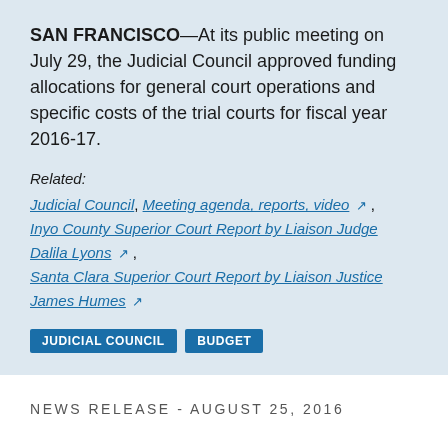SAN FRANCISCO—At its public meeting on July 29, the Judicial Council approved funding allocations for general court operations and specific costs of the trial courts for fiscal year 2016-17.
Related:
Judicial Council, Meeting agenda, reports, video [ext], Inyo County Superior Court Report by Liaison Judge Dalila Lyons [ext], Santa Clara Superior Court Report by Liaison Justice James Humes [ext]
JUDICIAL COUNCIL   BUDGET
NEWS RELEASE - AUGUST 25, 2016